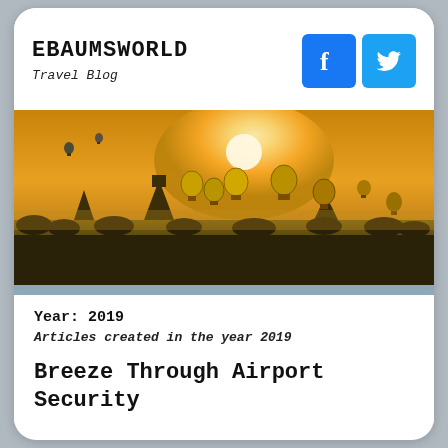EBAUMSWORLD
Travel Blog
[Figure (photo): Panoramic landscape at golden sunrise/sunset with numerous hot air balloons floating above temple ruins and trees, Bagan Myanmar style scene.]
Year: 2019
Articles created in the year 2019
Breeze Through Airport Security